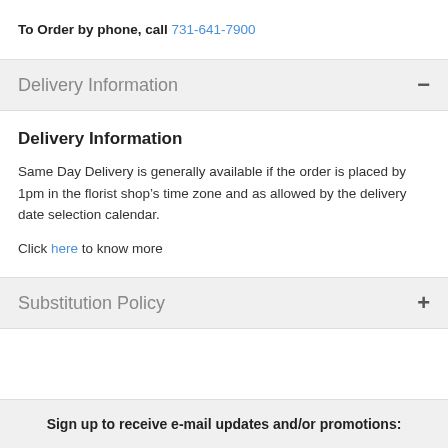To Order by phone, call 731-641-7900
Delivery Information
Delivery Information
Same Day Delivery is generally available if the order is placed by 1pm in the florist shop’s time zone and as allowed by the delivery date selection calendar.
Click here to know more
Substitution Policy
Sign up to receive e-mail updates and/or promotions: